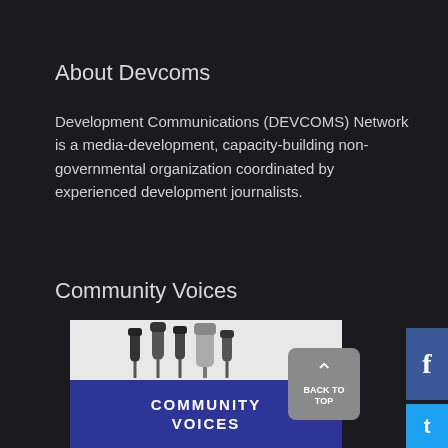About Devcoms
Development Communications (DEVCOMS) Network is a media-development, capacity-building non-governmental organization coordinated by experienced development journalists.
Community Voices
[Figure (photo): Image showing multiple microphones on stands against a white background, with a blue oval shape below containing the text COMMUNITY VOICES]
BACK TO TOP